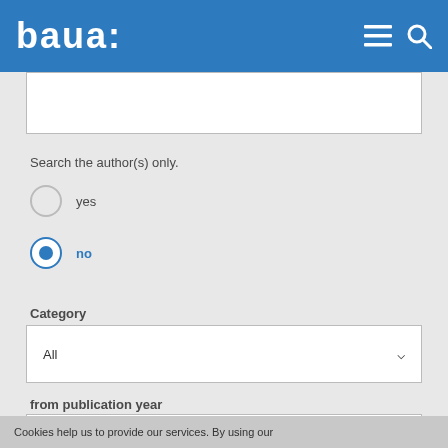baua:
[Figure (screenshot): Empty text input search box with white background and grey border]
Search the author(s) only.
yes
no
Category
[Figure (screenshot): Dropdown select box showing 'All' with down arrow]
from publication year
[Figure (screenshot): Dropdown select box showing '2013' with down arrow]
Cookies help us to provide our services. By using our